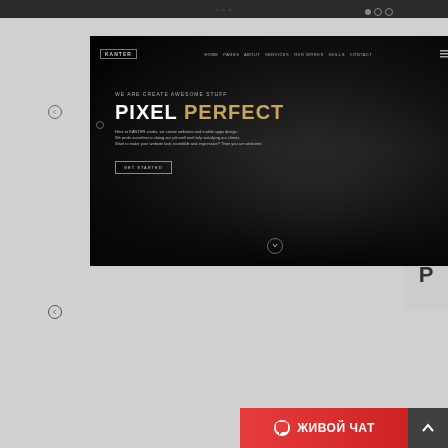[Figure (screenshot): Website template screenshot showing 'KANTER' theme with dark hero section displaying 'PIXEL PERFECT' heading in white and gold, navigation bar, descriptive text, and CTA button. Below is a photo gallery grid section with multiple images. At the bottom is a dark navy footer bar and a red 'ЖИВОЙ ЧАТ' (Live Chat) button.]